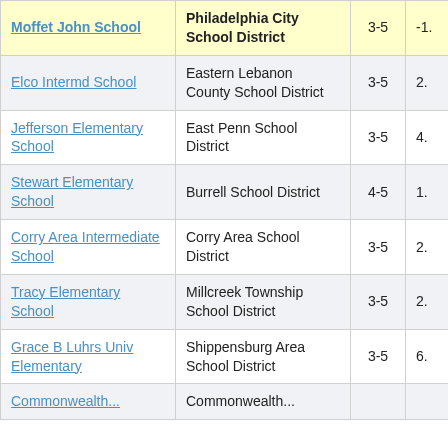| School | District | Grades | Value |
| --- | --- | --- | --- |
| Moffet John School | Philadelphia City School District | 3-5 | -1. |
| Elco Intermd School | Eastern Lebanon County School District | 3-5 | 2. |
| Jefferson Elementary School | East Penn School District | 3-5 | 4. |
| Stewart Elementary School | Burrell School District | 4-5 | 1. |
| Corry Area Intermediate School | Corry Area School District | 3-5 | 2. |
| Tracy Elementary School | Millcreek Township School District | 3-5 | 2. |
| Grace B Luhrs Univ Elementary | Shippensburg Area School District | 3-5 | 6. |
| Commonwealth... | Commonwealth... |  |  |